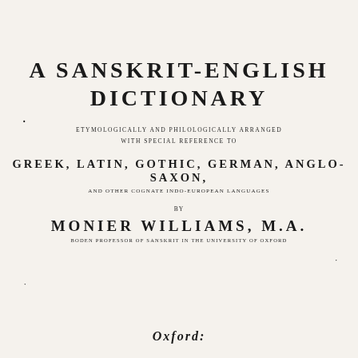A SANSKRIT-ENGLISH DICTIONARY
ETYMOLOGICALLY AND PHILOLOGICALLY ARRANGED
WITH SPECIAL REFERENCE TO
GREEK, LATIN, GOTHIC, GERMAN, ANGLO-SAXON,
AND OTHER COGNATE INDO-EUROPEAN LANGUAGES
BY
MONIER WILLIAMS, M.A.
BODEN PROFESSOR OF SANSKRIT IN THE UNIVERSITY OF OXFORD
Oxford: